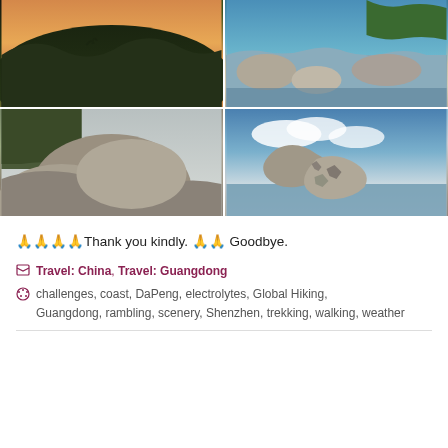[Figure (photo): Top-left: Sunset or twilight landscape with dark silhouetted hills and vegetation against an orange-pink sky over water]
[Figure (photo): Top-right: Rocky coastal scene with large boulders, blue ocean water, and green hills in the background]
[Figure (photo): Bottom-left: Close-up of large rounded granite boulders with vegetation and hazy sky]
[Figure (photo): Bottom-right: Jagged weathered rock formation against blue sky with clouds and ocean in background]
🙏🙏🙏🙏Thank you kindly. 🙏🙏 Goodbye.
Travel: China, Travel: Guangdong
challenges, coast, DaPeng, electrolytes, Global Hiking, Guangdong, rambling, scenery, Shenzhen, trekking, walking, weather